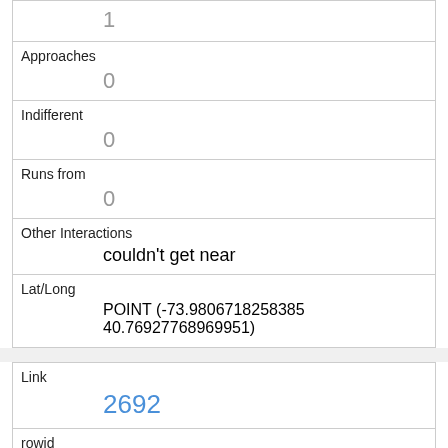| 1 |
| Approaches | 0 |
| Indifferent | 0 |
| Runs from | 0 |
| Other Interactions | couldn't get near |
| Lat/Long | POINT (-73.9806718258385 40.76927768969951) |
| Link | 2692 |
| rowid | 2692 |
| longitude | -73.980163640007441 |
| latitude | 40.769019205592606 |